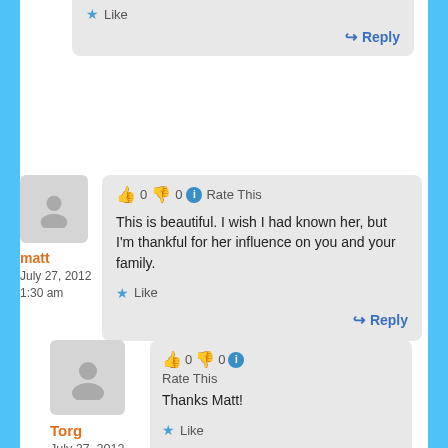[Figure (other): Partial comment reply box at top with Like button and Reply link]
Like
Reply
[Figure (other): User avatar placeholder for matt]
matt
July 27, 2012
1:30 am
👍 0 👎 0 ℹ Rate This
This is beautiful. I wish I had known her, but I'm thankful for her influence on you and your family.
Like
Reply
[Figure (other): User avatar placeholder for Torg]
Torg
July 27, 2012
2:21 am
👍 0 👎 0 ℹ Rate This
Thanks Matt!
Like